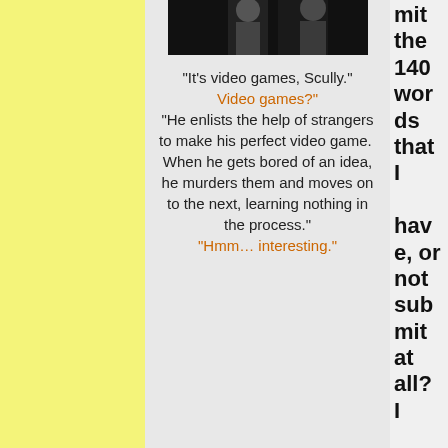[Figure (photo): Dark photo showing two figures, partially visible at top of middle column]
"It's video games, Scully." "Video games?" "He enlists the help of strangers to make his perfect video game. When he gets bored of an idea, he murders them and moves on to the next, learning nothing in the process." "Hmm... interesting."
mit the 140 words that I have, or not submit at all? I know it's not that EST yet,